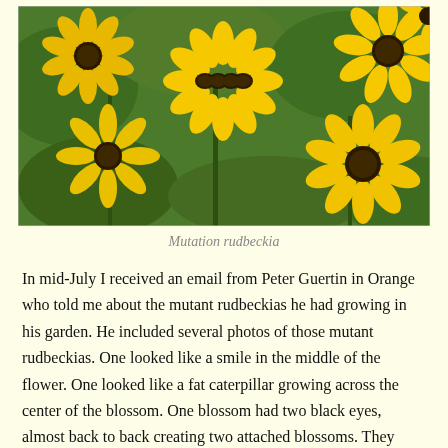[Figure (photo): Close-up photograph of yellow rudbeckia (black-eyed Susan) flowers with dark brown centers growing in a garden with green foliage in the background. One flower in the center shows a mutated center resembling a caterpillar or smile shape.]
Mutation rudbeckia
In mid-July I received an email from Peter Guertin in Orange who told me about the mutant rudbeckias he had growing in his garden. He included several photos of those mutant rudbeckias. One looked like a smile in the middle of the flower. One looked like a fat caterpillar growing across the center of the blossom. One blossom had two black eyes, almost back to back creating two attached blossoms. They were very odd flowers indeed.